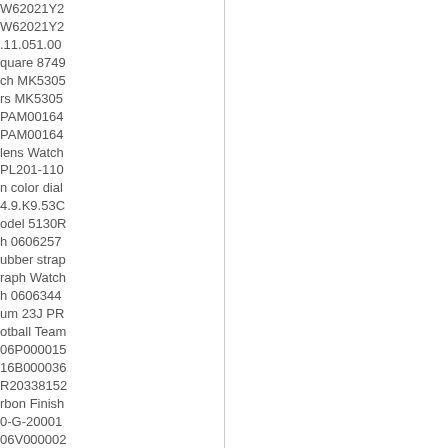W62021Y2
W62021Y2
.11.051.00
quare 8749
ch MK5305
rs MK5305
PAM00164
PAM00164
lens Watch
PL201-110
n color dial
4.9.K9.53C
odel 5130R
h 0606257
ubber strap
raph Watch
h 0606344
um 23J PR
otball Team
06P000015
16B000036
R20338152
rbon Finish
0-G-20001
06V000002
han 179173
iS/RG Auto
ca watches
Ruber strap
ca watches
10.LR.1922
SB.131.RX
PX.130.RX
M.1780.RX
ca watches
on watches
n Crocodile
W15409F6